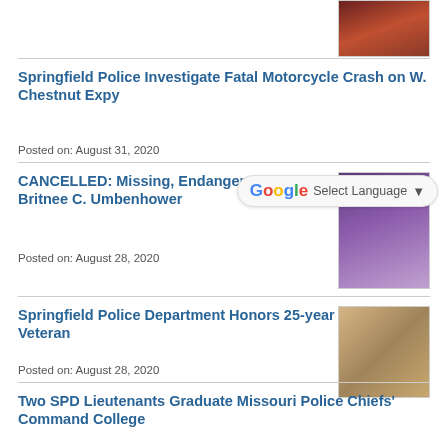[Figure (photo): Small photo thumbnail of a person at top right]
Springfield Police Investigate Fatal Motorcycle Crash on W. Chestnut Expy
Posted on: August 31, 2020
CANCELLED: Missing, Endangered Alert for Britnee C. Umbenhower
Posted on: August 28, 2020
[Figure (photo): Photo of a young woman with glasses wearing a patterned jacket]
Springfield Police Department Honors 25-year Veteran
Posted on: August 28, 2020
[Figure (photo): Photo of two police officers in uniform]
Two SPD Lieutenants Graduate Missouri Police Chiefs' Command College
Posted on: August 27, 2009
SPD Sends Additional 50 Sexual Assault Kits for Testing Through SAFE Kits
[Figure (photo): Photo of sexual assault kit boxes]